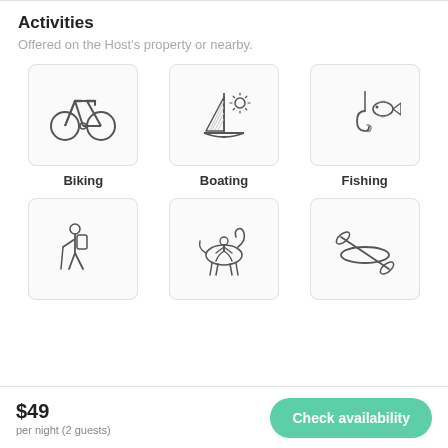Activities
Offered on the Host's property or nearby.
[Figure (illustration): Biking icon — outline bicycle]
Biking
[Figure (illustration): Boating icon — outline sailboat with sun]
Boating
[Figure (illustration): Fishing icon — outline fish on hook]
Fishing
[Figure (illustration): Hiking icon — outline person with backpack and walking stick]
[Figure (illustration): Horse riding icon — outline person on horse]
[Figure (illustration): Kayaking icon — outline kayak with paddle]
$49
per night (2 guests)
Check availability